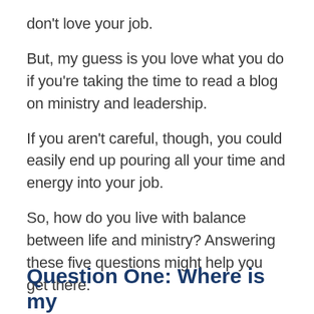don't love your job.
But, my guess is you love what you do if you're taking the time to read a blog on ministry and leadership.
If you aren't careful, though, you could easily end up pouring all your time and energy into your job.
So, how do you live with balance between life and ministry? Answering these five questions might help you get there.
Question One: Where is my